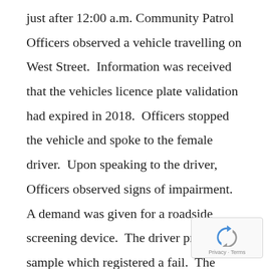just after 12:00 a.m. Community Patrol Officers observed a vehicle travelling on West Street.  Information was received that the vehicles licence plate validation had expired in 2018.  Officers stopped the vehicle and spoke to the female driver.  Upon speaking to the driver, Officers observed signs of impairment.  A demand was given for a roadside screening device.  The driver provided a sample which registered a fail.  The diver was arrested and transported to the Brantford Police Service where she was to provide samples of her breath as required by law.  The
[Figure (other): Google reCAPTCHA badge with recaptcha icon and 'Privacy - Terms' text]